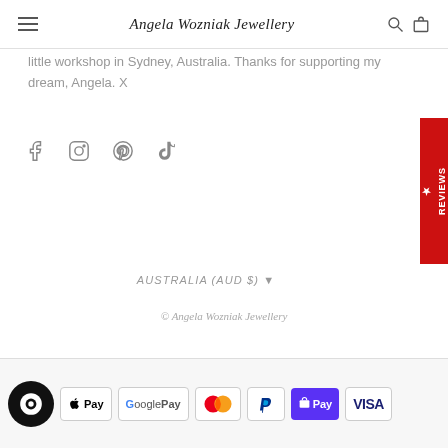Angela Wozniak Jewellery
little workshop in Sydney, Australia. Thanks for supporting my dream, Angela. X
[Figure (infographic): Social media icons: Facebook, Instagram, Pinterest, TikTok]
[Figure (infographic): Red vertical REVIEWS tab on right edge]
AUSTRALIA (AUD $) ▾
© Angela Wozniak Jewellery
[Figure (infographic): Payment method icons: chat bubble, Apple Pay, Google Pay, Mastercard, PayPal, Shop Pay, Visa]